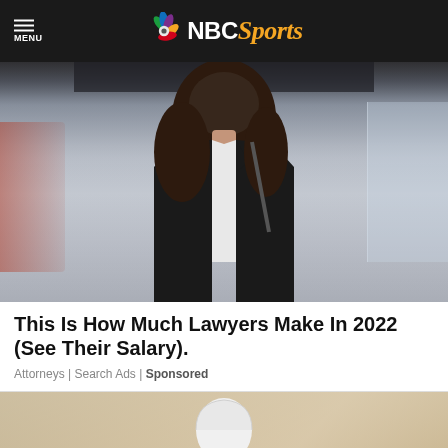MENU | NBC Sports
[Figure (photo): Woman in black blazer and white blouse standing in a blurred office/corridor background, face obscured]
This Is How Much Lawyers Make In 2022 (See Their Salary).
Attorneys | Search Ads | Sponsored
[Figure (photo): Hand holding a white light bulb against a beige/cardboard background]